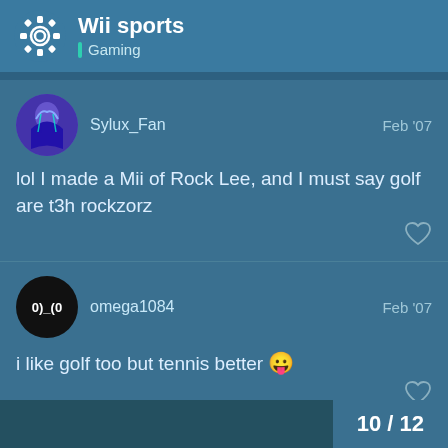Wii sports | Gaming
Sylux_Fan  Feb '07
lol I made a Mii of Rock Lee, and I must say golf are t3h rockzorz
omega1084  Feb '07
i like golf too but tennis better 😛
10 / 12